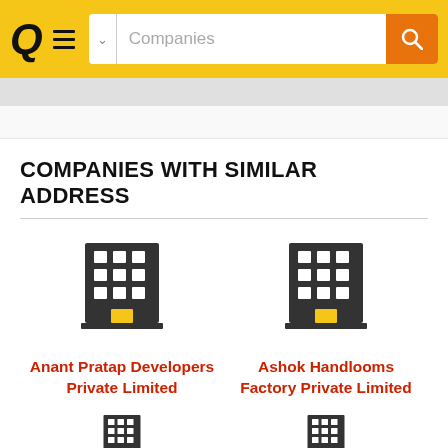Q [logo] Companies [search bar]
COMPANIES WITH SIMILAR ADDRESS
[Figure (illustration): Building icon for Anant Pratap Developers Private Limited]
Anant Pratap Developers Private Limited
[Figure (illustration): Building icon for Ashok Handlooms Factory Private Limited]
Ashok Handlooms Factory Private Limited
[Figure (illustration): Partial building icon (bottom of page, left)]
[Figure (illustration): Partial building icon (bottom of page, right)]